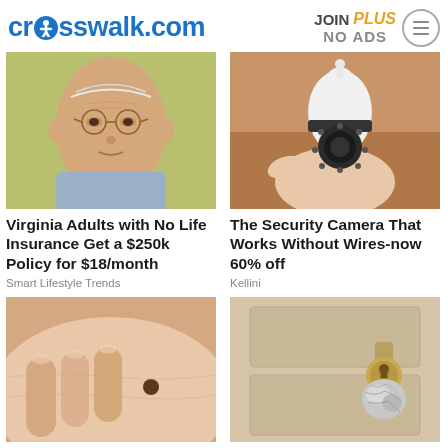crosswalk.com | JOIN PLUS NO ADS
[Figure (photo): Elderly man with glasses looking forward, light blue background]
Virginia Adults with No Life Insurance Get a $250k Policy for $18/month
Smart Lifestyle Trends
[Figure (photo): Hand holding a small white wireless security camera shaped like a light bulb]
The Security Camera That Works Without Wires-now 60% off
Kellini
[Figure (photo): Close-up of a person's skin with a mole, fingers touching near it]
[Figure (photo): Door lock with a crumpled foil ball placed in the keyhole area]